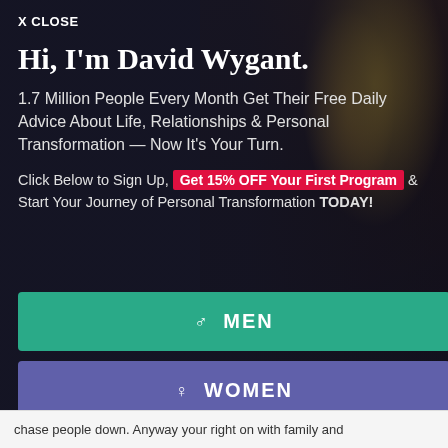X CLOSE
Hi, I'm David Wygant.
1.7 Million People Every Month Get Their Free Daily Advice About Life, Relationships & Personal Transformation — Now It's Your Turn.
Click Below to Sign Up, Get 15% OFF Your First Program & Start Your Journey of Personal Transformation TODAY!
♂ MEN
♀ WOMEN
chase people down. Anyway your right on with family and